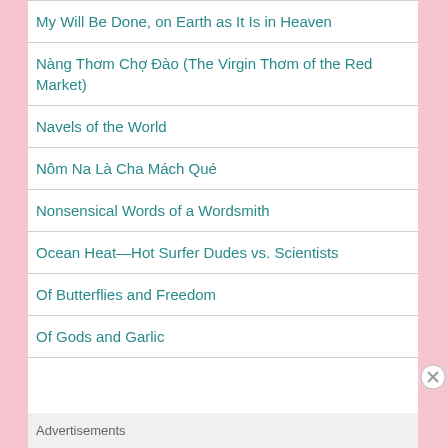My Will Be Done, on Earth as It Is in Heaven
Nàng Thơm Chợ Đào (The Virgin Thơm of the Red Market)
Navels of the World
Nôm Na Là Cha Mách Qué
Nonsensical Words of a Wordsmith
Ocean Heat—Hot Surfer Dudes vs. Scientists
Of Butterflies and Freedom
Of Gods and Garlic
Advertisements